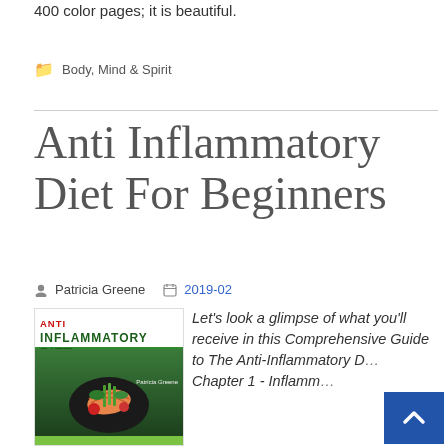400 color pages; it is beautiful.
Body, Mind & Spirit
Anti Inflammatory Diet For Beginners
Patricia Greene  2019-02
[Figure (photo): Book cover of Anti Inflammatory Diet for Beginners by Patricia Greene, showing food items including salmon, asparagus, tomatoes and herbs on a dark background, with green and white design]
Let's look a glimpse of what you'll receive in this Comprehensive Guide to The Anti-Inflammatory D… Chapter 1 - Inflamm…